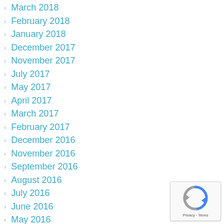March 2018
February 2018
January 2018
December 2017
November 2017
July 2017
May 2017
April 2017
March 2017
February 2017
December 2016
November 2016
September 2016
August 2016
July 2016
June 2016
May 2016
April 2016
[Figure (logo): reCAPTCHA badge with Privacy and Terms text]